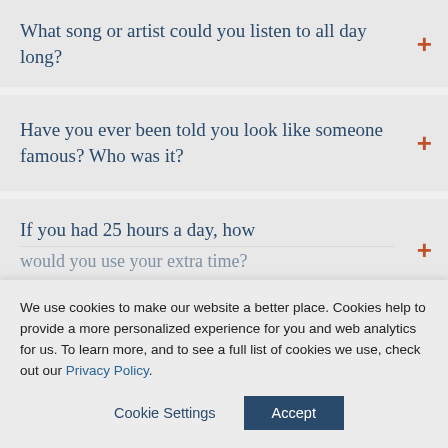What song or artist could you listen to all day long?
Have you ever been told you look like someone famous? Who was it?
If you had 25 hours a day, how would you use your extra time?
We use cookies to make our website a better place. Cookies help to provide a more personalized experience for you and web analytics for us. To learn more, and to see a full list of cookies we use, check out our Privacy Policy.
Cookie Settings
Accept